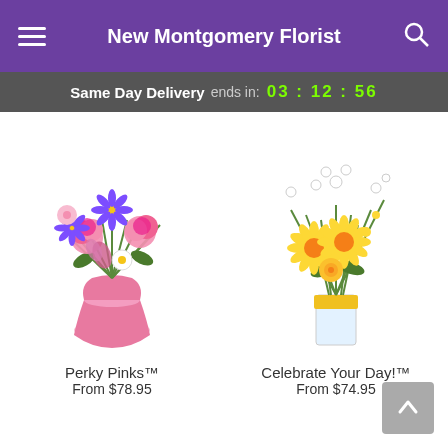New Montgomery Florist
Same Day Delivery ends in: 03 : 12 : 56
[Figure (photo): Perky Pinks flower arrangement in a pink vase with pink carnations, purple asters, and mixed flowers]
Perky Pinks™
From $78.95
[Figure (photo): Celebrate Your Day! flower arrangement in a clear vase with yellow gerberas, white stock, and yellow roses]
Celebrate Your Day!™
From $74.95